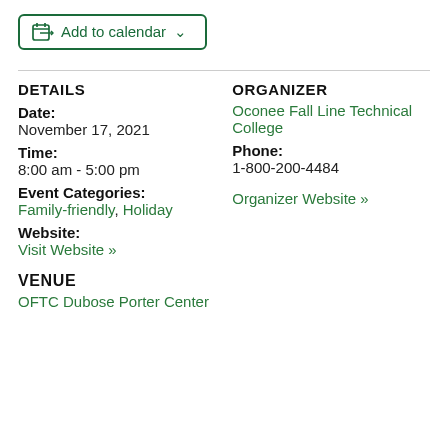[Figure (other): Add to calendar button with calendar icon and dropdown arrow]
DETAILS
Date:
November 17, 2021
Time:
8:00 am - 5:00 pm
Event Categories:
Family-friendly, Holiday
Website:
Visit Website »
ORGANIZER
Oconee Fall Line Technical College
Phone:
1-800-200-4484
Organizer Website »
VENUE
OFTC Dubose Porter Center